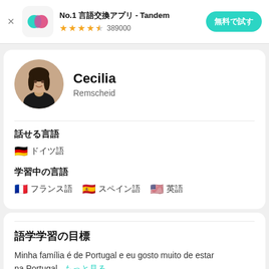[Figure (screenshot): Ad banner for Tandem language exchange app with logo icon, star rating, and call-to-action button]
No.1 言語交換アプリ - Tandem
★★★★☆ 389000
無料で試す
[Figure (photo): Circular profile photo of Cecilia, a young woman with dark hair wearing a black top]
Cecilia
Remscheid
話せる言語
🇩🇪 ドイツ語
学習中の言語
🇫🇷 フランス語  🇪🇸 スペイン語  🇺🇸 英語
語学学習の目標
Minha família é de Portugal e eu gosto muito de estar na Portugal...もっと見る